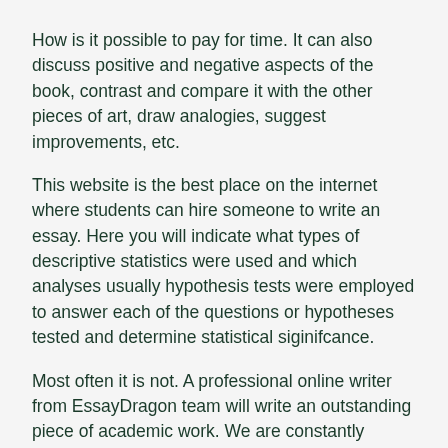How is it possible to pay for time. It can also discuss positive and negative aspects of the book, contrast and compare it with the other pieces of art, draw analogies, suggest improvements, etc.
This website is the best place on the internet where students can hire someone to write an essay. Here you will indicate what types of descriptive statistics were used and which analyses usually hypothesis tests were employed to answer each of the questions or hypotheses tested and determine statistical siginifcance.
Most often it is not. A professional online writer from EssayDragon team will write an outstanding piece of academic work. We are constantly improving their experience by requesting feedbacks and implementing their suggestions.